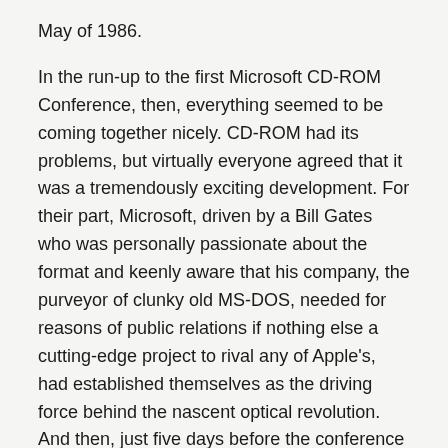May of 1986.
In the run-up to the first Microsoft CD-ROM Conference, then, everything seemed to be coming together nicely. CD-ROM had its problems, but virtually everyone agreed that it was a tremendously exciting development. For their part, Microsoft, driven by a Bill Gates who was personally passionate about the format and keenly aware that his company, the purveyor of clunky old MS-DOS, needed for reasons of public relations if nothing else a cutting-edge project to rival any of Apple’s, had established themselves as the driving force behind the nascent optical revolution. And then, just five days before the conference was scheduled to convene — timing that struck very few as accidental — Philips injected a seething ball of chaos into the system via something called CD-I.
CD-I was a different, competing file format for CD data